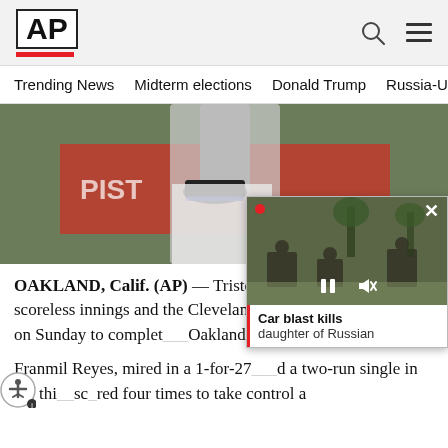AP
Trending News   Midterm elections   Donald Trump   Russia-Ukr
[Figure (photo): Baseball pitcher mid-wind-up, wearing gray uniform and Nike cleats, with red advertisement board in background]
OAKLAND, Calif. (AP) — Triston McKenzie threw 6 1/3 scoreless innings and the Cleveland [Guardians beat the] Athletics 7-3 on Sunday to complet[ing a sweep in] Oakland in 22 years.
Franmil Reyes, mired in a 1-for-27 [slump,] d a two-run single in the thi[rd and] scored four times to take control a
[Figure (photo): Floating video popup showing military/soldiers scene with video controls and caption 'Car blast kills daughter of Russian']